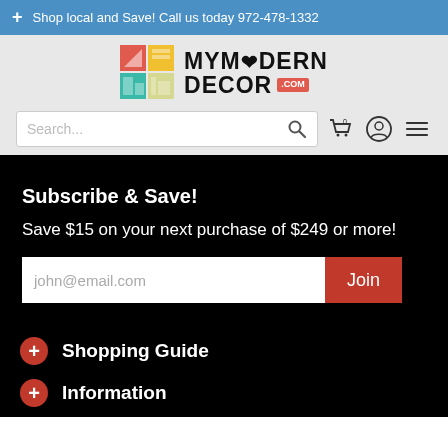+ Shop local and Save! Call us today 972-478-1332
[Figure (logo): MyModern Decor logo with colored grid icon and text MYMODERN DECOR .com]
Search...
Subscribe & Save!
Save $15 on your next purchase of $249 or more!
john@email.com  Join
Shopping Guide
Information